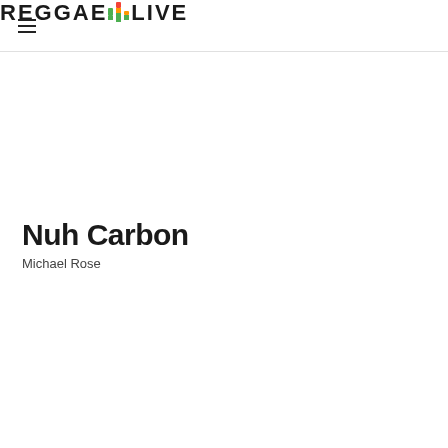REGGAE LIVE (logo with equalizer bars)
Nuh Carbon
Michael Rose